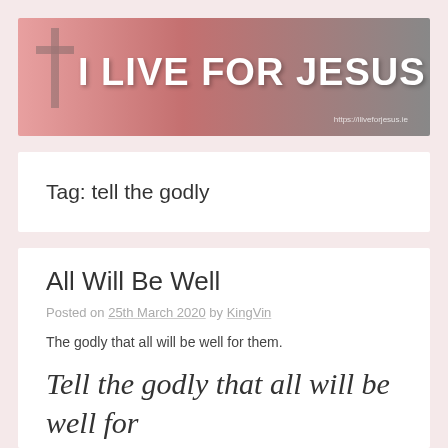[Figure (logo): I Live For Jesus website banner with large bold white text on a pink-to-gray gradient background, with a cross silhouette on the left and URL https://iliveforjesus.ie]
Tag: tell the godly
All Will Be Well
Posted on 25th March 2020 by KingVin
The godly that all will be well for them.
Tell the godly that all will be well for them. They will be their rich...